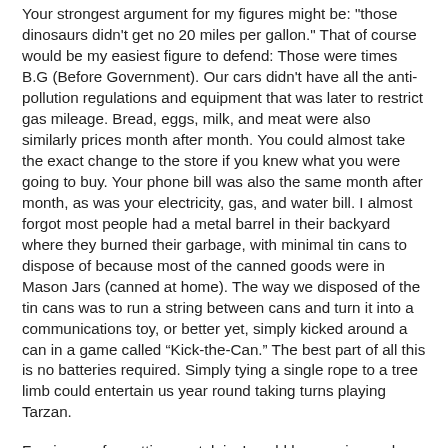Your strongest argument for my figures might be: "those dinosaurs didn't get no 20 miles per gallon." That of course would be my easiest figure to defend: Those were times B.G (Before Government). Our cars didn't have all the anti-pollution regulations and equipment that was later to restrict gas mileage. Bread, eggs, milk, and meat were also similarly prices month after month. You could almost take the exact change to the store if you knew what you were going to buy. Your phone bill was also the same month after month, as was your electricity, gas, and water bill. I almost forgot most people had a metal barrel in their backyard where they burned their garbage, with minimal tin cans to dispose of because most of the canned goods were in Mason Jars (canned at home). The way we disposed of the tin cans was to run a string between cans and turn it into a communications toy, or better yet, simply kicked around a can in a game called “Kick-the-Can.” The best part of all this is no batteries required. Simply tying a single rope to a tree limb could entertain us year round taking turns playing Tarzan.
Forgive me for getting nostalgic. I could keep going and write a book instead of a blog post.